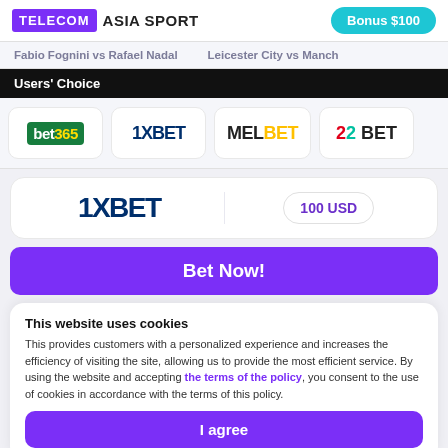TELECOM ASIA SPORT | Bonus $100
Fabio Fognini vs Rafael Nadal | Leicester City vs Manch
Users' Choice
[Figure (logo): bet365, 1XBET, MELBET, 22BET brand logos in carousel]
[Figure (logo): 1XBET logo large]
100 USD
Bet Now!
This website uses cookies
This provides customers with a personalized experience and increases the efficiency of visiting the site, allowing us to provide the most efficient service. By using the website and accepting the terms of the policy, you consent to the use of cookies in accordance with the terms of this policy.
I agree